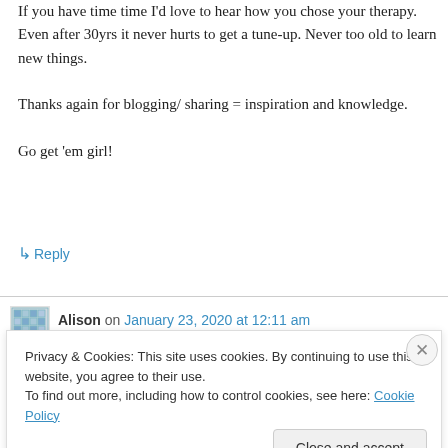If you have time time I'd love to hear how you chose your therapy. Even after 30yrs it never hurts to get a tune-up. Never too old to learn new things.
Thanks again for blogging/ sharing = inspiration and knowledge.
Go get 'em girl!
↳ Reply
Alison on January 23, 2020 at 12:11 am
Privacy & Cookies: This site uses cookies. By continuing to use this website, you agree to their use.
To find out more, including how to control cookies, see here: Cookie Policy
Close and accept